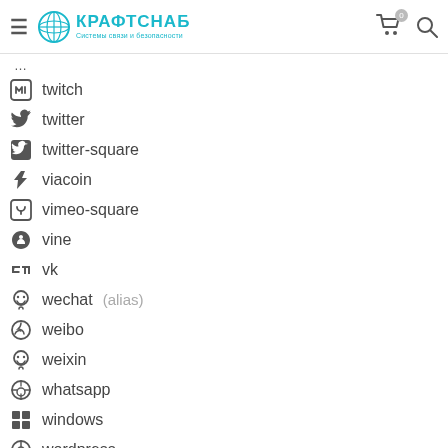КРАФТСНАБ — Системы связи и безопасности
twitch
twitter
twitter-square
viacoin
vimeo-square
vine
vk
wechat (alias)
weibo
weixin
whatsapp
windows
wordpress
xing
xing-square
yahoo